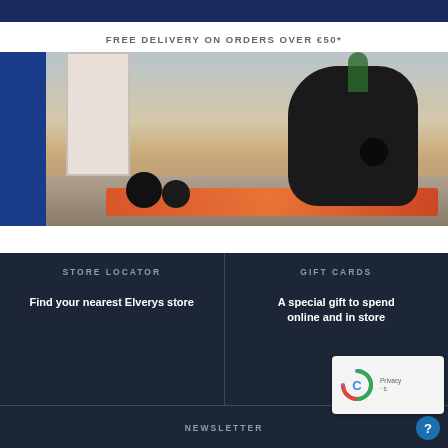FREE DELIVERY ON ORDERS OVER €50*
[Figure (photo): Person in black athletic wear doing a kettlebell workout on an orange exercise mat in a room with wooden floor, multiple kettlebells visible]
GUIDE TO BUYING A KETTLEBELL
STORE LOCATOR
Find your nearest Elverys store
GIFT CARDS
A special gift to spend online and in store
NEWSLETTER